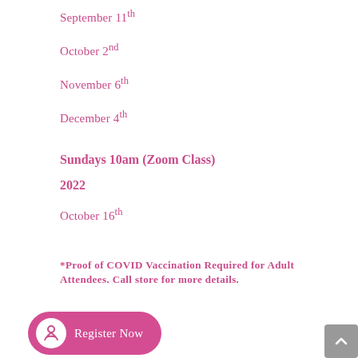September 11th
October 2nd
November 6th
December 4th
Sundays 10am (Zoom Class)
2022
October 16th
*Proof of COVID Vaccination Required for Adult Attendees. Call store for more details.
Register Now